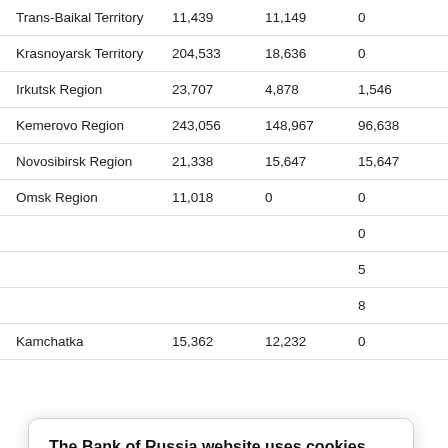| Trans-Baikal Territory | 11,439 | 11,149 | 0 | 238 |
| Krasnoyarsk Territory | 204,533 | 18,636 | 0 | 111,900 |
| Irkutsk Region | 23,707 | 4,878 | 1,546 | 16,644 |
| Kemerovo Region | 243,056 | 148,967 | 96,638 | 78,336 |
| Novosibirsk Region | 21,338 | 15,647 | 15,647 | 2,829 |
| Omsk Region | 11,018 | 0 | 0 | 10,876 |
| [partial] | [partial] | [partial] | 0 | [partial] |
| [partial] | [partial] | [partial] | 5 | 51,007 |
| [partial] | [partial] | [partial] | 8 | 1,009 |
| Kamchatka | 15,362 | 12,232 | 0 | 232 |
The Bank of Russia website uses cookies
By using www.cbr.ru, you accept the User Agreement.
Accept